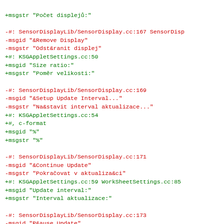+msgstr "Počet displejů:"

-#: SensorDisplayLib/SensorDisplay.cc:167 SensorDisp
-msgid "&Remove Display"
-msgstr "Odst&ranit displej"
+#: KSGAppletSettings.cc:50
+msgid "Size ratio:"
+msgstr "Poměr velikosti:"

-#: SensorDisplayLib/SensorDisplay.cc:169
-msgid "&Setup Update Interval..."
-msgstr "Na&stavit interval aktualizace..."
+#: KSGAppletSettings.cc:54
+#, c-format
+msgid "%"
+msgstr "%"

-#: SensorDisplayLib/SensorDisplay.cc:171
-msgid "&Continue Update"
-msgstr "Pokračovat v aktualiza&ci"
+#: KSGAppletSettings.cc:59 WorkSheetSettings.cc:85
+msgid "Update interval:"
+msgstr "Interval aktualizace:"

-#: SensorDisplayLib/SensorDisplay.cc:173
-msgid "P&ause Update"
-msgstr "Pozastavit &aktualizaci"
+#. i18n: file ./SensorDisplayLib/SensorLoggerDlgWid
+#: KSGAppletSettings.cc:64 WorkSheetSettings.cc:91
+#: rc.cpp:132